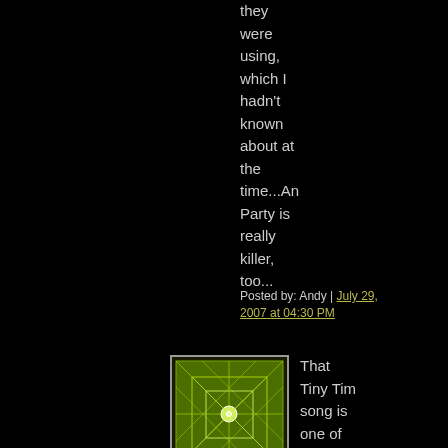they were using, which I hadn't known about at the time...An Party is really killer, too...
Posted by: Andy | July 29, 2007 at 04:30 PM
[Figure (illustration): Green geometric web/grid pattern on dark background, square avatar image]
That Tiny Tim song is one of the most